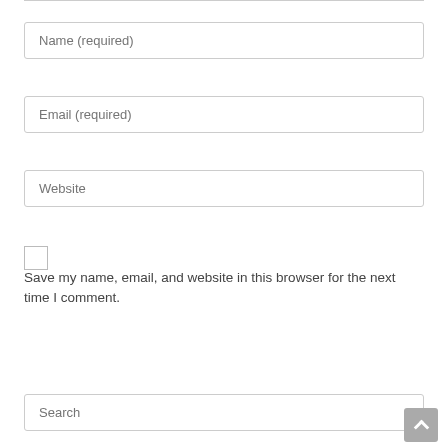Name (required)
Email (required)
Website
Save my name, email, and website in this browser for the next time I comment.
POST COMMENT
Search